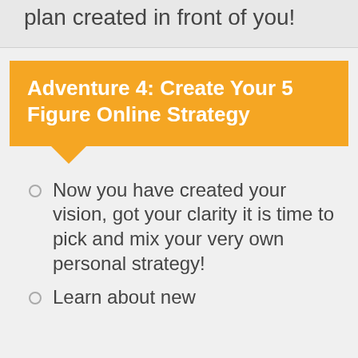plan created in front of you!
Adventure 4: Create Your 5 Figure Online Strategy
Now you have created your vision, got your clarity it is time to pick and mix your very own personal strategy!
Learn about new